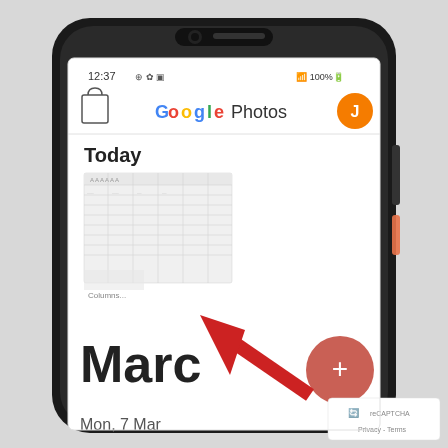[Figure (screenshot): A smartphone (Android) showing the Google Photos app. The phone has a dark frame with camera cutout at top. The screen shows: status bar with time 12:37 and icons, Google Photos header with shopping bag icon on left, Google Photos logo in center (Google multicolor + Photos in dark), and orange circle avatar with J on right. Below is 'Today' section header in bold, a thumbnail of a document/spreadsheet, a small label below it. Further down shows 'March' in large bold text (partially obscured by a large red arrow pointing up-left toward the + button) and 'Mon, 7 Mar' text. A red circular FAB button with white + is in the bottom right of the screen. A reCAPTCHA badge and 'Privacy - Terms' text appear in corner.]